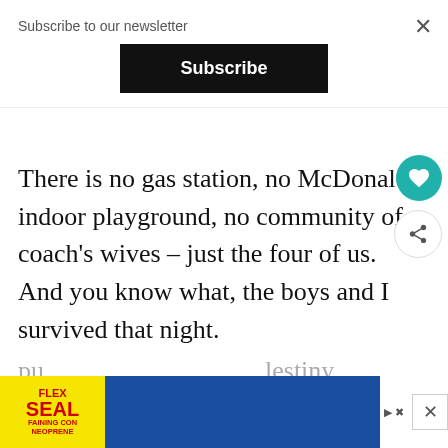Subscribe to our newsletter
Subscribe
There is no gas station, no McDonald's indoor playground, no community of coach's wives – just the four of us.  And you know what, the boys and I survived that night.
I actually have a 100% survival rate, as do my children, of surviving every single thing we had to do so that Coach could pu...lestiny.
[Figure (screenshot): Advertisement banner: Flex Seal logo in yellow with red text on left, blue panel on right, with play/close controls]